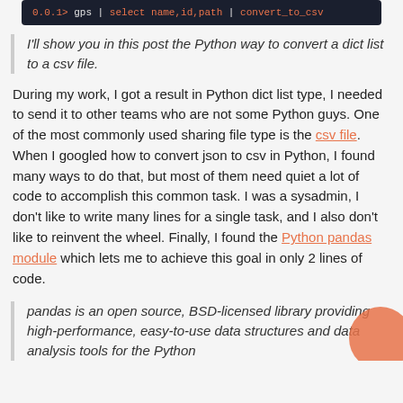[Figure (screenshot): Dark code block showing terminal command: 0.0.1> gps | select name,id,path | convert_to_csv]
I'll show you in this post the Python way to convert a dict list to a csv file.
During my work, I got a result in Python dict list type, I needed to send it to other teams who are not some Python guys. One of the most commonly used sharing file type is the csv file. When I googled how to convert json to csv in Python, I found many ways to do that, but most of them need quiet a lot of code to accomplish this common task. I was a sysadmin, I don't like to write many lines for a single task, and I also don't like to reinvent the wheel. Finally, I found the Python pandas module which lets me to achieve this goal in only 2 lines of code.
pandas is an open source, BSD-licensed library providing high-performance, easy-to-use data structures and data analysis tools for the Python